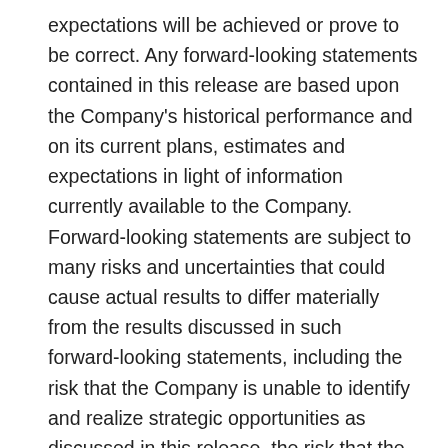expectations will be achieved or prove to be correct. Any forward-looking statements contained in this release are based upon the Company's historical performance and on its current plans, estimates and expectations in light of information currently available to the Company. Forward-looking statements are subject to many risks and uncertainties that could cause actual results to differ materially from the results discussed in such forward-looking statements, including the risk that the Company is unable to identify and realize strategic opportunities as discussed in this release, the risk that the amount of annual interest savings may vary, and the risk that the intended use of borrowings under the facility may change. More information about potential factors that could cause results to differ materially from those anticipated in the forward-looking statements include, but are not limited to, those stated in the Company's